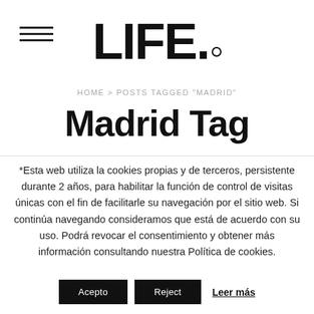LIFE.
HOME > POSTS TAGGED 'MADRID'
Madrid Tag
*Esta web utiliza la cookies propias y de terceros, persistente durante 2 años, para habilitar la función de control de visitas únicas con el fin de facilitarle su navegación por el sitio web. Si continúa navegando consideramos que está de acuerdo con su uso. Podrá revocar el consentimiento y obtener más información consultando nuestra Política de cookies.
Acepto | Reject | Leer más